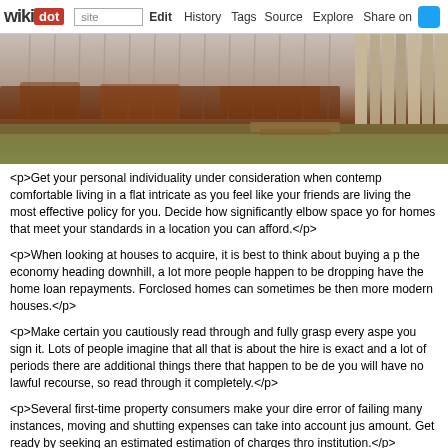wikidot | site | Edit | History | Tags | Source | Explore | Share on [Twitter]
[Figure (photo): Photograph of a rusted corrugated metal fence/wall with brown rust stains at the base, dried grass and debris on the ground, and wooden slats visible on the right side.]
<p>Get your personal individuality under consideration when contemp... comfortable living in a flat intricate as you feel like your friends are living... the most effective policy for you. Decide how significantly elbow space yo... for homes that meet your standards in a location you can afford.</p>
<p>When looking at houses to acquire, it is best to think about buying a p... the economy heading downhill, a lot more people happen to be dropping... have the home loan repayments. Forclosed homes can sometimes be... then more modern houses.</p>
<p>Make certain you cautiously read through and fully grasp every aspe... you sign it. Lots of people imagine that all that is about the hire is exact... and a lot of periods there are additional things there that happen to be de... you will have no lawful recourse, so read through it completely.</p>
<p>Several first-time property consumers make your dire error of failing... many instances, moving and shutting expenses can take into account jus... amount. Get ready by seeking an estimated estimation of charges thro... institution.</p>